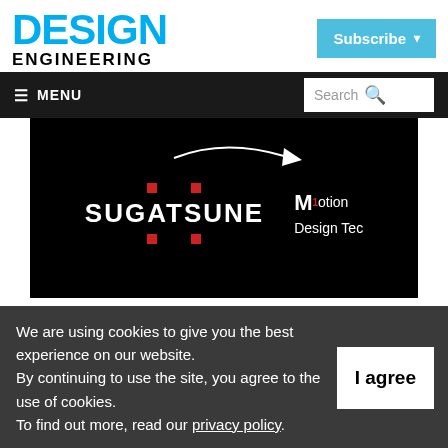[Figure (logo): Design Engineering magazine logo with DESIGN in large cyan bold text and ENGINEERING in black bold smaller text below]
[Figure (screenshot): Subscribe button in cyan/light blue with white bold text and a dropdown arrow]
[Figure (screenshot): Navigation bar with hamburger MENU label on left and Search box with magnifier icon on right, on dark background]
[Figure (screenshot): Black banner/advertisement area showing Sugatsune logo with red dots and Motion Design Tec logo, with cursor arrow graphic at top]
Top 5 Trending
We are using cookies to give you the best experience on our website.
By continuing to use the site, you agree to the use of cookies.
To find out more, read our privacy policy.